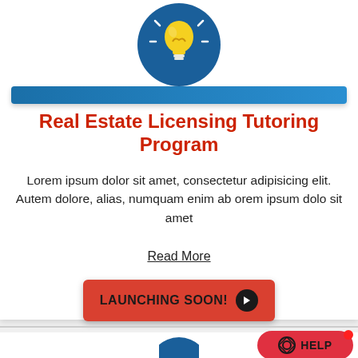[Figure (illustration): Light bulb icon on dark blue circular background, representing ideas or tutoring]
Real Estate Licensing Tutoring Program
Lorem ipsum dolor sit amet, consectetur adipisicing elit. Autem dolore, alias, numquam enim ab orem ipsum dolo sit amet
Read More
LAUNCHING SOON!
[Figure (illustration): Help button with lifesaver icon on red pill-shaped background]